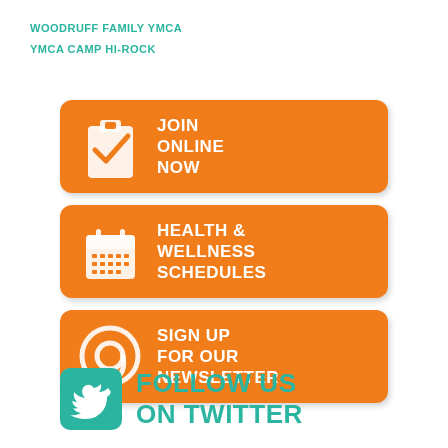WOODRUFF FAMILY YMCA
YMCA CAMP HI-ROCK
[Figure (infographic): Three orange rounded rectangle buttons stacked vertically. First button: clipboard with checkmark icon and text 'JOIN ONLINE NOW'. Second button: calendar icon and text 'HEALTH & WELLNESS SCHEDULES'. Third button: at-sign (@) icon and text 'SIGN UP FOR OUR NEWSLETTER'.]
[Figure (infographic): Teal rounded square Twitter bird icon followed by teal bold text 'FOLLOW US ON TWITTER'.]